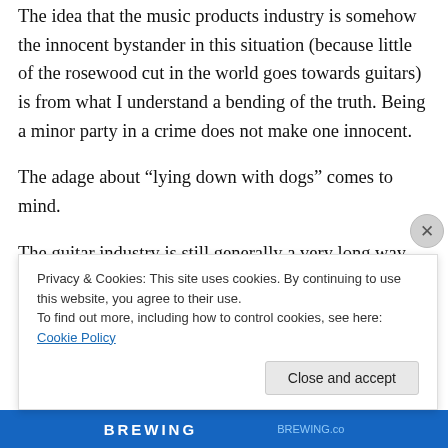The idea that the music products industry is somehow the innocent bystander in this situation (because little of the rosewood cut in the world goes towards guitars) is from what I understand a bending of the truth. Being a minor party in a crime does not make one innocent.
The adage about “lying down with dogs” comes to mind.
The guitar industry is still generally a very long way from sourcing sustainable timber and being supportive and transparent about it.
And a performance on a flource about to be disclosed at the
Privacy & Cookies: This site uses cookies. By continuing to use this website, you agree to their use.
To find out more, including how to control cookies, see here: Cookie Policy
Close and accept